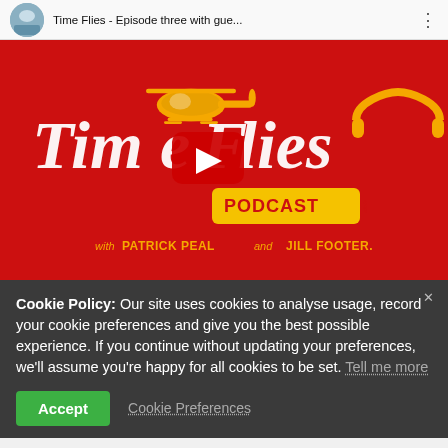[Figure (screenshot): YouTube video thumbnail bar showing channel icon, title 'Time Flies - Episode three with gue...' and three-dot menu]
[Figure (screenshot): YouTube embedded video thumbnail showing 'Time Flies Podcast' branding on red background with play button, helicopter, headphones, text 'with PATRICK PEAL and JILL FOOTER.']
Cookie Policy: Our site uses cookies to analyse usage, record your cookie preferences and give you the best possible experience. If you continue without updating your preferences, we'll assume you're happy for all cookies to be set. Tell me more
Accept   Cookie Preferences